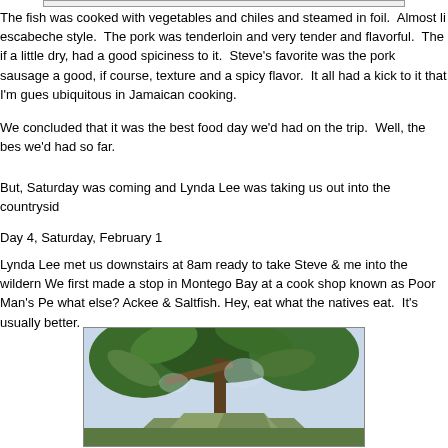The fish was cooked with vegetables and chiles and steamed in foil. Almost li escabeche style. The pork was tenderloin and very tender and flavorful. The if a little dry, had a good spiciness to it. Steve's favorite was the pork sausage a good, if course, texture and a spicy flavor. It all had a kick to it that I'm gues ubiquitous in Jamaican cooking.
We concluded that it was the best food day we'd had on the trip. Well, the bes we'd had so far.
But, Saturday was coming and Lynda Lee was taking us out into the countrysid
Day 4, Saturday, February 1
Lynda Lee met us downstairs at 8am ready to take Steve & me into the wildern We first made a stop in Montego Bay at a cook shop known as Poor Man's Pe what else? Ackee & Saltfish. Hey, eat what the natives eat. It's usually better.
[Figure (photo): Outdoor photo showing tropical trees with large leaves and a structure or tent visible below, taken in Jamaica]